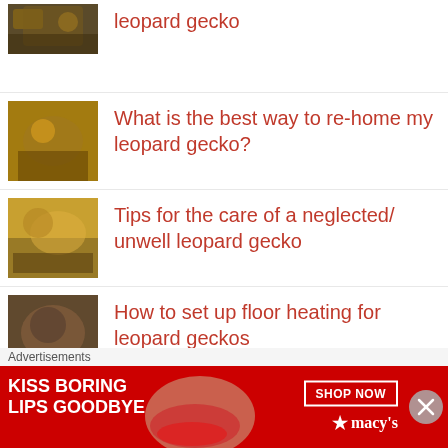leopard gecko
What is the best way to re-home my leopard gecko?
Tips for the care of a neglected/unwell leopard gecko
How to set up floor heating for leopard geckos
Why has my leopard gecko turned white?
Mouth rot in leopard geckos: FAQ
Advertisements
[Figure (photo): Advertisement banner: KISS BORING LIPS GOODBYE with SHOP NOW button and Macy's logo on red background with woman's face]